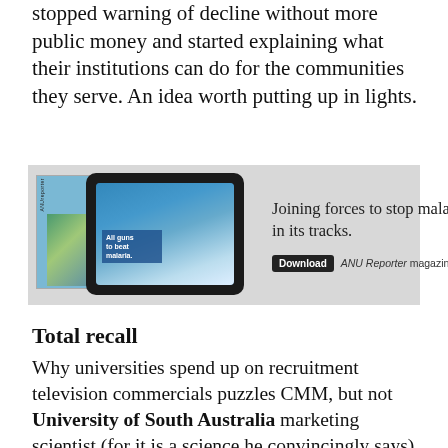stopped warning of decline without more public money and started explaining what their institutions can do for the communities they serve. An idea worth putting up in lights.
[Figure (illustration): ANU Reporter magazine advertisement showing a tablet device displaying a researcher working with malaria research equipment, alongside a print magazine cover. Text reads: 'Joining forces to stop malaria in its tracks.' with a Download button and 'ANU Reporter magazine now'.]
Total recall
Why universities spend up on recruitment television commercials puzzles CMM, but not University of South Australia marketing scientist (for it is a science he convincingly says) Byron Sharp. “They want to reach teenagers, and their parents, and anyone who might do post-graduate. This is quite a broad audience. TV is a cheap per exposure, fast and vast medium still. And yes